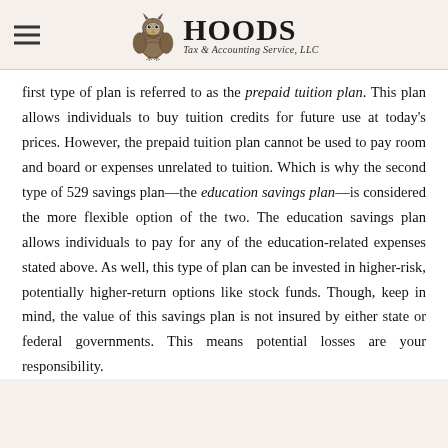HOODS Tax & Accounting Service, LLC
first type of plan is referred to as the prepaid tuition plan. This plan allows individuals to buy tuition credits for future use at today's prices. However, the prepaid tuition plan cannot be used to pay room and board or expenses unrelated to tuition. Which is why the second type of 529 savings plan—the education savings plan—is considered the more flexible option of the two. The education savings plan allows individuals to pay for any of the education-related expenses stated above. As well, this type of plan can be invested in higher-risk, potentially higher-return options like stock funds. Though, keep in mind, the value of this savings plan is not insured by either state or federal governments. This means potential losses are your responsibility.